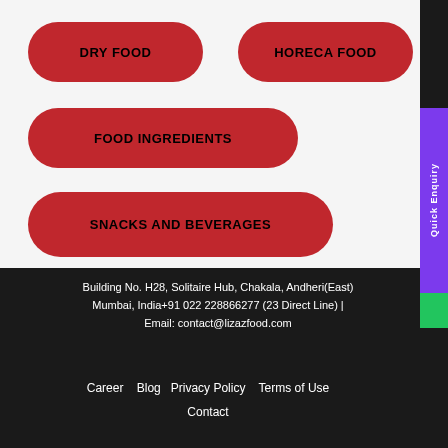DRY FOOD
HORECA FOOD
FOOD INGREDIENTS
SNACKS AND BEVERAGES
Building No. H28, Solitaire Hub, Chakala, Andheri(East) Mumbai, India+91 022 228866277 (23 Direct Line) | Email: contact@lizazfood.com
Career   Blog   Privacy Policy   Terms of Use   Contact